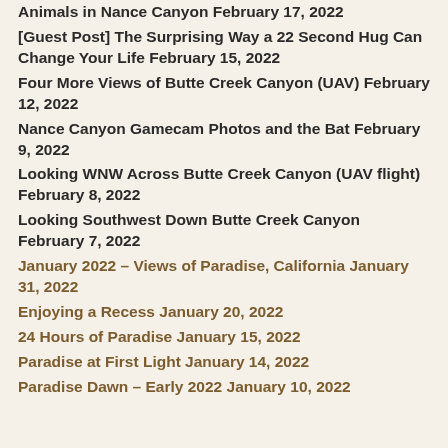Animals in Nance Canyon February 17, 2022
[Guest Post] The Surprising Way a 22 Second Hug Can Change Your Life February 15, 2022
Four More Views of Butte Creek Canyon (UAV) February 12, 2022
Nance Canyon Gamecam Photos and the Bat February 9, 2022
Looking WNW Across Butte Creek Canyon (UAV flight) February 8, 2022
Looking Southwest Down Butte Creek Canyon February 7, 2022
January 2022 – Views of Paradise, California January 31, 2022
Enjoying a Recess January 20, 2022
24 Hours of Paradise January 15, 2022
Paradise at First Light January 14, 2022
Paradise Dawn – Early 2022 January 10, 2022